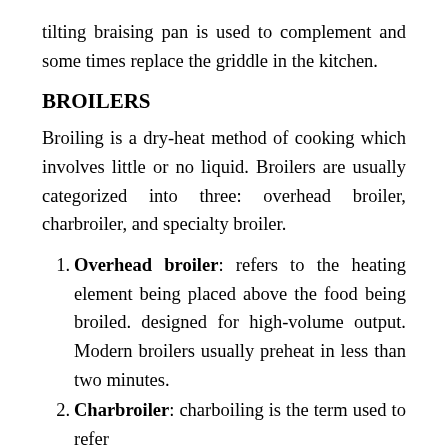tilting braising pan is used to complement and some times replace the griddle in the kitchen.
BROILERS
Broiling is a dry-heat method of cooking which involves little or no liquid. Broilers are usually categorized into three: overhead broiler, charbroiler, and specialty broiler.
Overhead broiler: refers to the heating element being placed above the food being broiled. designed for high-volume output. Modern broilers usually preheat in less than two minutes.
Charbroiler: charboiling is the term used to refer